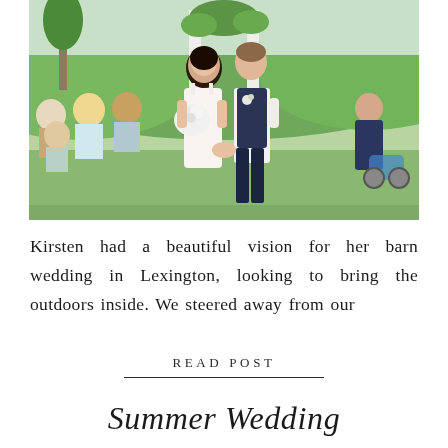[Figure (photo): Outdoor wedding ceremony photo: bride in white dress holding white bouquet and groom in dark navy suit vest walking down the aisle together, smiling. Guests seated on left, green rolling hills and trees in background, white pillar arch decorated with greenery visible behind them. Another man in suit visible on far right.]
Kirsten had a beautiful vision for her barn wedding in Lexington, looking to bring the outdoors inside. We steered away from our
READ POST
Summer Wedding